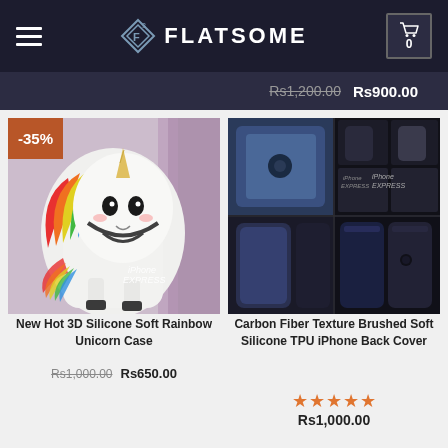FLATSOME
Rs1,200.00  Rs900.00
[Figure (photo): Colorful rainbow unicorn 3D silicone soft phone case with -35% discount badge, iPhone Express branding]
New Hot 3D Silicone Soft Rainbow Unicorn Case
Rs1,000.00  Rs650.00
[Figure (photo): Carbon fiber texture brushed soft silicone TPU iPhone back cover shown in multiple dark navy/black color views grid, iPhone Express branding]
Carbon Fiber Texture Brushed Soft Silicone TPU iPhone Back Cover
★★★★★  Rs1,000.00